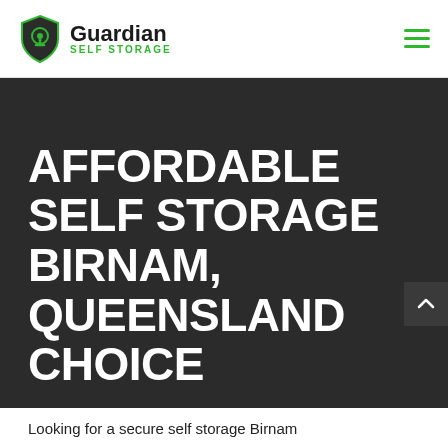Guardian Self Storage
AFFORDABLE SELF STORAGE BIRNAM, QUEENSLAND CHOICE
Looking for a secure self storage Birnam